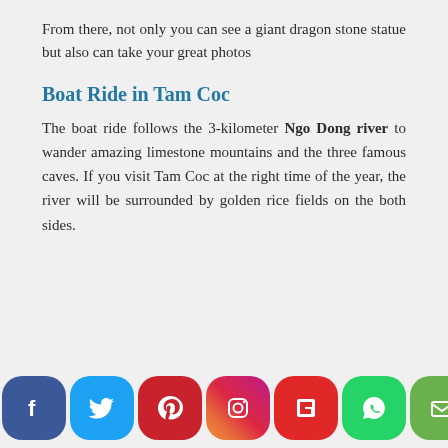From there, not only you can see a giant dragon stone statue but also can take your great photos
Boat Ride in Tam Coc
The boat ride follows the 3-kilometer Ngo Dong river to wander amazing limestone mountains and the three famous caves. If you visit Tam Coc at the right time of the year, the river will be surrounded by golden rice fields on the both sides.
[Figure (other): Social media sharing buttons: Facebook, Twitter, Pinterest, Instagram, Flipboard, WhatsApp, Email]